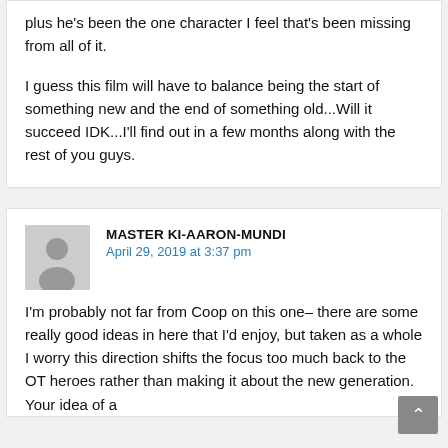plus he's been the one character I feel that's been missing from all of it.

I guess this film will have to balance being the start of something new and the end of something old...Will it succeed IDK...I'll find out in a few months along with the rest of you guys.
MASTER KI-AARON-MUNDI
April 29, 2019 at 3:37 pm
I'm probably not far from Coop on this one– there are some really good ideas in here that I'd enjoy, but taken as a whole I worry this direction shifts the focus too much back to the OT heroes rather than making it about the new generation. Your idea of a